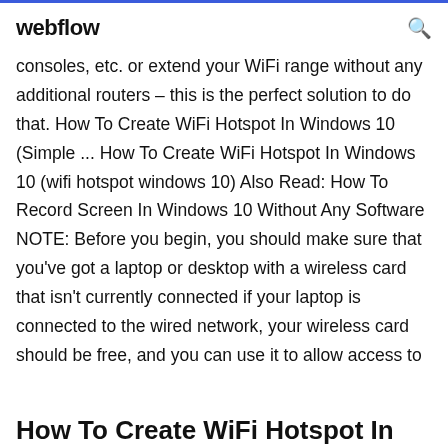webflow
consoles, etc. or extend your WiFi range without any additional routers – this is the perfect solution to do that. How To Create WiFi Hotspot In Windows 10 (Simple ... How To Create WiFi Hotspot In Windows 10 (wifi hotspot windows 10) Also Read: How To Record Screen In Windows 10 Without Any Software NOTE: Before you begin, you should make sure that you've got a laptop or desktop with a wireless card that isn't currently connected if your laptop is connected to the wired network, your wireless card should be free, and you can use it to allow access to
How To Create WiFi Hotspot In